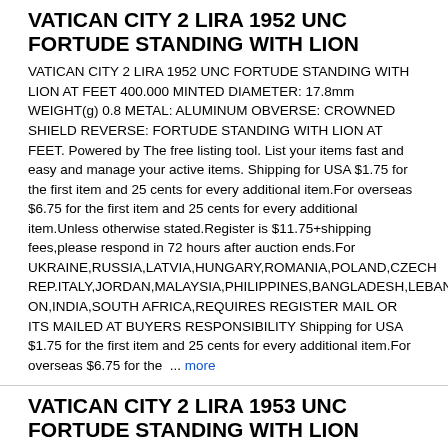VATICAN CITY 2 LIRA 1952 UNC FORTUDE STANDING WITH LION
VATICAN CITY 2 LIRA 1952 UNC FORTUDE STANDING WITH LION AT FEET 400.000 MINTED DIAMETER: 17.8mm WEIGHT(g) 0.8 METAL: ALUMINUM OBVERSE: CROWNED SHIELD REVERSE: FORTUDE STANDING WITH LION AT FEET. Powered by The free listing tool. List your items fast and easy and manage your active items. Shipping for USA $1.75 for the first item and 25 cents for every additional item.For overseas $6.75 for the first item and 25 cents for every additional item.Unless otherwise stated.Register is $11.75+shipping fees,please respond in 72 hours after auction ends.For UKRAINE,RUSSIA,LATVIA,HUNGARY,ROMANIA,POLAND,CZECH REP.ITALY,JORDAN,MALAYSIA,PHILIPPINES,BANGLADESH,LEBANON,INDIA,SOUTH AFRICA,REQUIRES REGISTER MAIL OR ITS MAILED AT BUYERS RESPONSIBILITY Shipping for USA $1.75 for the first item and 25 cents for every additional item.For overseas $6.75 for the ... more
VATICAN CITY 2 LIRA 1953 UNC FORTUDE STANDING WITH LION
VATICAN CITY 2 LIRA 1953 UNC FORTUDE STANDING WITH LION AT FEET 400.000 MINTED DIAMETER: 17.8mm WEIGHT(g) 0.8 METAL: ALUMINUM OBVERSE: CROWNED SHIELD REVERSE: FORTUDE STANDING WITH LION AT FEET. Powered by The free listing tool. List your items fast and easy and manage your active items. Shipping for USA $1.75 for the first item and 25 cents for every additional item.For overseas $6.75 for the first item and 25 cents for every additional item.Unless otherwise stated.Register is $11.75+shipping fees,please respond in 72 hours after auction ends.For UKRAINE,RUSSIA,LATVIA,HUNGARY,ROMANIA,POLAND,CZECH REP.ITALY,JORDAN,MALAYSIA,PHILIPPINES,BANGLADESH,LEBAN ON,INDIA,SOUTH AFRICA,REQUIRES REGISTER MAIL OR ITS